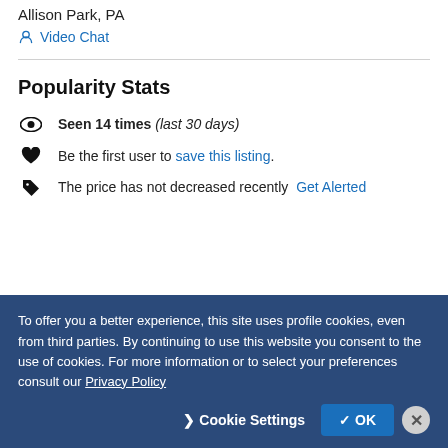Allison Park, PA
Video Chat
Popularity Stats
Seen 14 times (last 30 days)
Be the first user to save this listing.
The price has not decreased recently  Get Alerted
To offer you a better experience, this site uses profile cookies, even from third parties. By continuing to use this website you consent to the use of cookies. For more information or to select your preferences consult our Privacy Policy
Cookie Settings   ✓ OK